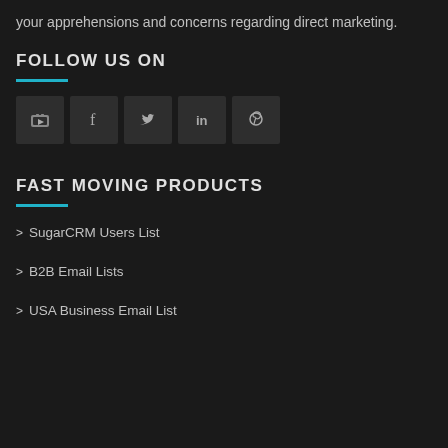your apprehensions and concerns regarding direct marketing.
FOLLOW US ON
[Figure (other): Row of five social media icon buttons: YouTube, Facebook, Twitter, LinkedIn, Pinterest]
FAST MOVING PRODUCTS
> SugarCRM Users List
> B2B Email Lists
> USA Business Email List